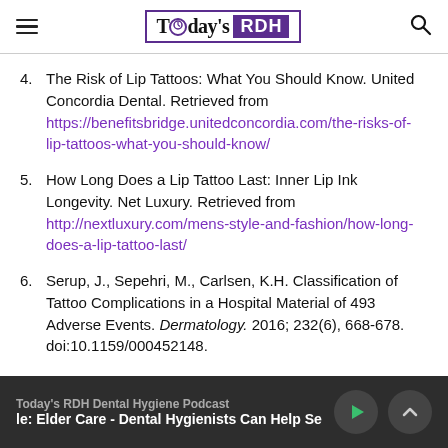Today's RDH
4. The Risk of Lip Tattoos: What You Should Know. United Concordia Dental. Retrieved from https://benefitsbridge.unitedconcordia.com/the-risks-of-lip-tattoos-what-you-should-know/
5. How Long Does a Lip Tattoo Last: Inner Lip Ink Longevity. Net Luxury. Retrieved from http://nextluxury.com/mens-style-and-fashion/how-long-does-a-lip-tattoo-last/
6. Serup, J., Sepehri, M., Carlsen, K.H. Classification of Tattoo Complications in a Hospital Material of 493 Adverse Events. Dermatology. 2016; 232(6), 668-678. doi:10.1159/000452148.
Today's RDH Dental Hygiene Podcast | Episode: Elder Care - Dental Hygienists Can Help Se...